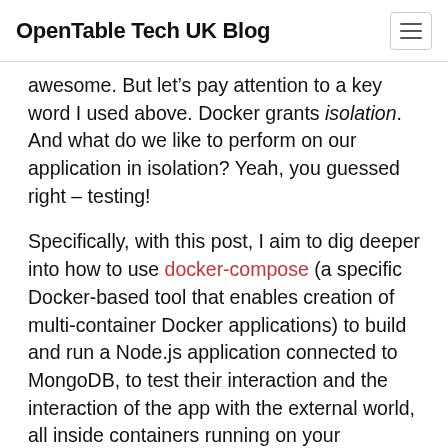OpenTable Tech UK Blog
awesome. But let’s pay attention to a key word I used above. Docker grants isolation. And what do we like to perform on our application in isolation? Yeah, you guessed right – testing!
Specifically, with this post, I aim to dig deeper into how to use docker-compose (a specific Docker-based tool that enables creation of multi-container Docker applications) to build and run a Node.js application connected to MongoDB, to test their interaction and the interaction of the app with the external world, all inside containers running on your machine. All isolated and testable thanks to the usage of containers that we can spin up, hit with tests, and clean up with little effort.